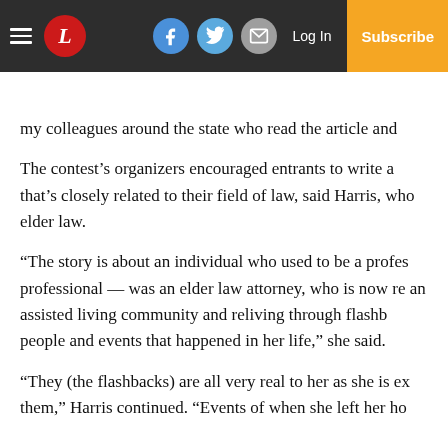Newspaper navigation bar with hamburger menu, logo, social icons (Facebook, Twitter, email), Log In link, and Subscribe button
my colleagues around the state who read the article and
The contest's organizers encouraged entrants to write a that's closely related to their field of law, said Harris, who elder law.
“The story is about an individual who used to be a profes professional — was an elder law attorney, who is now re an assisted living community and reliving through flashb people and events that happened in her life,” she said.
“They (the flashbacks) are all very real to her as she is ex them,” Harris continued. “Events of when she left her ho